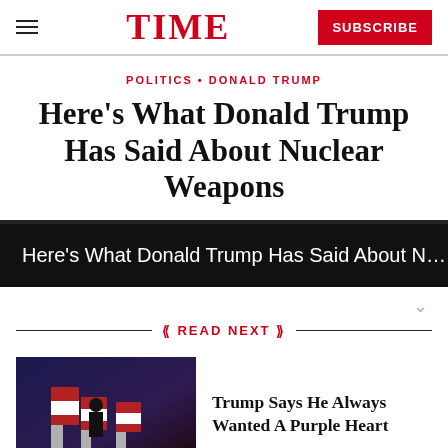TIME | SUBSCRIBE
POLITICS • DONALD TRUMP
Here's What Donald Trump Has Said About Nuclear Weapons
Here's What Donald Trump Has Said About N...
READ NEXT
Trump Says He Always Wanted A Purple Heart